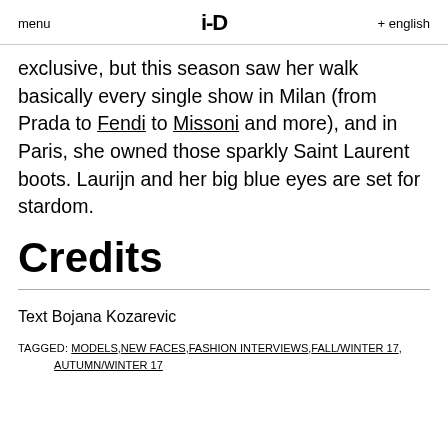menu   i-D   + english
exclusive, but this season saw her walk basically every single show in Milan (from Prada to Fendi to Missoni and more), and in Paris, she owned those sparkly Saint Laurent boots. Laurijn and her big blue eyes are set for stardom.
Credits
Text Bojana Kozarevic
TAGGED: MODELS, NEW FACES, FASHION INTERVIEWS, FALL/WINTER 17, AUTUMN/WINTER 17